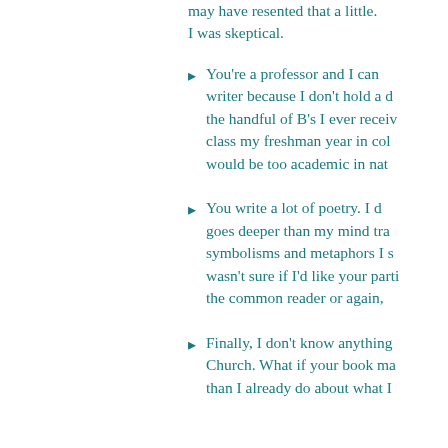may have resented that a little. I was skeptical.
You're a professor and I can writer because I don't hold a d the handful of B's I ever receiv class my freshman year in col would be too academic in nat
You write a lot of poetry. I d goes deeper than my mind tra symbolisms and metaphors I s wasn't sure if I'd like your parti the common reader or again,
Finally, I don't know anything Church. What if your book ma than I already do about what I